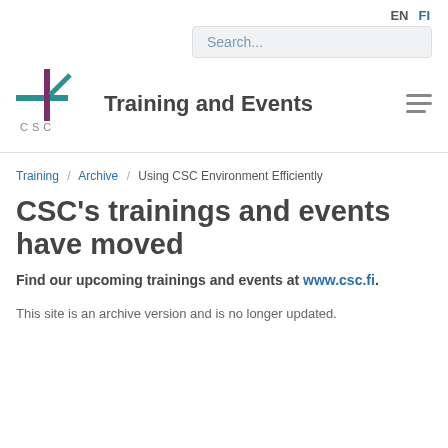EN  FI
Search...
Training and Events
Training / Archive / Using CSC Environment Efficiently
CSC's trainings and events have moved
Find our upcoming trainings and events at www.csc.fi.
This site is an archive version and is no longer updated.